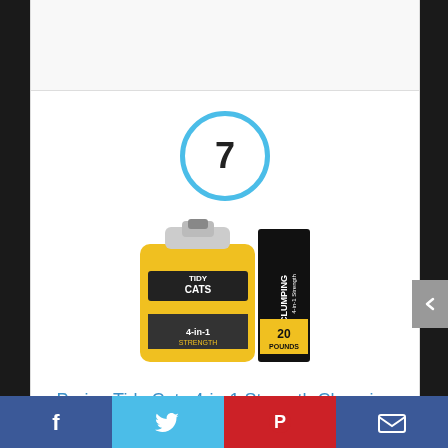[Figure (other): Number 7 inside a blue circle, serving as a list ranking indicator]
[Figure (photo): Purina Tidy Cats 4-in-1 Strength Clumping Cat Litter product photo showing a yellow jug and a black box labeled CLUMPING 4-in-1 Strength 20 POUNDS]
Purina Tidy Cats 4-in-1 Strength Clumping Cat Litter
By Purina Tidy Cats